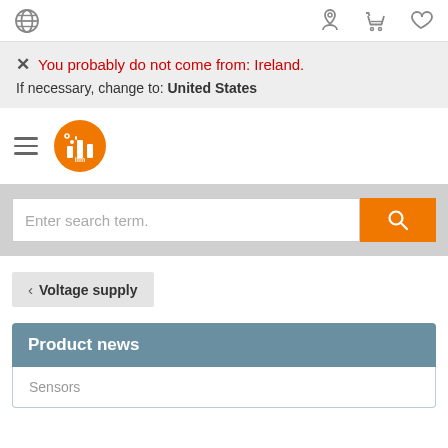Navigation bar with globe, user, heart, and cart icons
You probably do not come from: Ireland. If necessary, change to: United States
[Figure (logo): ifm electronic logo - orange circle with white building/factory icon]
Enter search term.
Voltage supply
Product news
Sensors